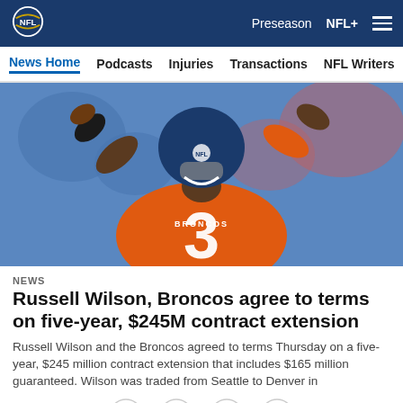NFL | Preseason  NFL+
News Home  Podcasts  Injuries  Transactions  NFL Writers  Se
[Figure (photo): NFL player wearing Denver Broncos orange jersey number 3 (Russell Wilson) raising both arms, holding a football in one hand, with blurred crowd background]
NEWS
Russell Wilson, Broncos agree to terms on five-year, $245M contract extension
Russell Wilson and the Broncos agreed to terms Thursday on a five-year, $245 million contract extension that includes $165 million guaranteed. Wilson was traded from Seattle to Denver in
[Figure (infographic): Social sharing icons: Facebook, Twitter, Email, Link]